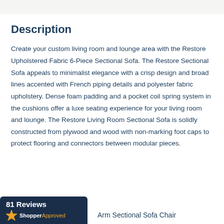Description
Create your custom living room and lounge area with the Restore Upholstered Fabric 6-Piece Sectional Sofa. The Restore Sectional Sofa appeals to minimalist elegance with a crisp design and broad lines accented with French piping details and polyester fabric upholstery. Dense foam padding and a pocket coil spring system in the cushions offer a luxe seating experience for your living room and lounge. The Restore Living Room Sectional Sofa is solidly constructed from plywood and wood with non-marking foot caps to protect flooring and connectors between modular pieces.
[Figure (logo): Shopper Approved badge showing 81 Reviews with star icon and ShopperApproved branding on dark navy background]
Arm Sectional Sofa Chair